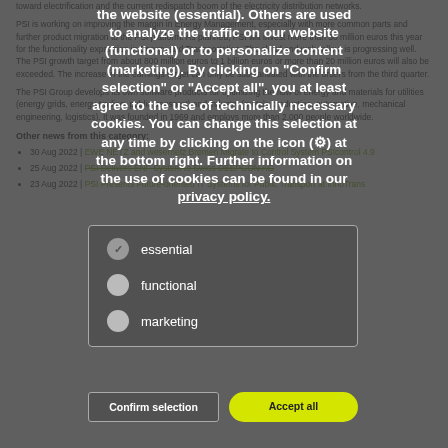toward electrification and the current redispatch boom of the electricity distribution networks.
PSI is working on improving the margin in Energy Management, especially with more common parts and further product migration to the PSI platform. As planned, PSI will invest more than 30 million euros this year for the functionality expansion in Energy and Transportation. The cloud and web rollout is progressing well. The PSI growth target from about 800 million euros to 1 billion euros or more than 20 million euros will also be exceeded. The increase in the earnings target can only be substantiated with the orders from the third quarter.
The PSI Group develops its own software products for optimizing the flow of energy and materials for utilities (energy grids, energy trading, public transport) and industry (metals production, automotive, mechanical engineering, logistics). It was founded in 1969 and employs more than 2,000 people worldwide.
Other news from this category:
30 Aug 2022 | EWE NETZ and wesernetz Bremen Migrate to Control System PSIcontrol 4.9
25 Aug 2022 | PSI Delivers ENF System to Swiss DEEPCON AG
23 Aug 2022 | PSI Presents Future-oriented IT Systems for Public Transport at InnoTrans
Cookie consent overlay: the website (essential). Others are used to analyze the traffic on our website (functional) or to personalize content (marketing). By clicking on "Confirm selection" or "Accept all", you at least agree to the use of technically necessary cookies. You can change this selection at any time by clicking on the icon at the bottom right. Further information on the use of cookies can be found in our privacy policy. Options: essential (checked), functional, marketing. Buttons: Confirm selection | Accept all